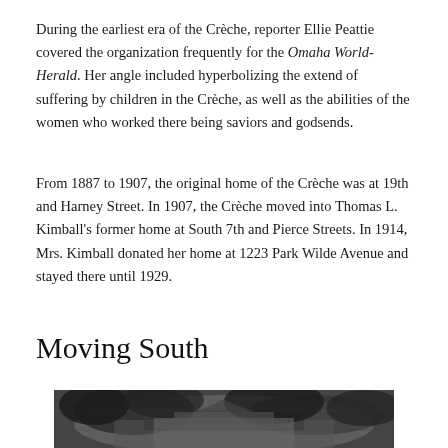During the earliest era of the Crèche, reporter Ellie Peattie covered the organization frequently for the Omaha World-Herald. Her angle included hyperbolizing the extend of suffering by children in the Crèche, as well as the abilities of the women who worked there being saviors and godsends.
From 1887 to 1907, the original home of the Crèche was at 19th and Harney Street. In 1907, the Crèche moved into Thomas L. Kimball's former home at South 7th and Pierce Streets. In 1914, Mrs. Kimball donated her home at 1223 Park Wilde Avenue and stayed there until 1929.
Moving South
[Figure (photo): Black and white photograph of a building partially obscured by trees, bottom portion of page]